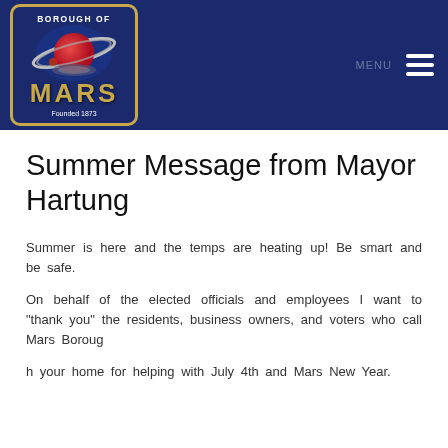[Figure (logo): Borough of Mars official seal/logo — navy blue square with gold border, planet graphic with rings in red/silver, text 'BOROUGH OF MARS Founded 1873' in gold and white]
Summer Message from Mayor Hartung
Summer is here and the temps are heating up! Be smart and be safe.
On behalf of the elected officials and employees I want to "thank you" the residents, business owners, and voters who call Mars Boroug
h your home for helping with July 4th and Mars New Year.